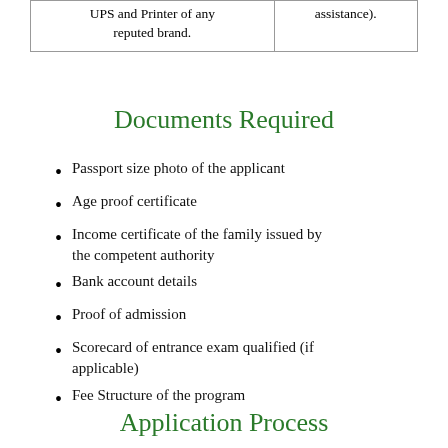| UPS and Printer of any reputed brand. | assistance). |
Documents Required
Passport size photo of the applicant
Age proof certificate
Income certificate of the family issued by the competent authority
Bank account details
Proof of admission
Scorecard of entrance exam qualified (if applicable)
Fee Structure of the program
Application Process